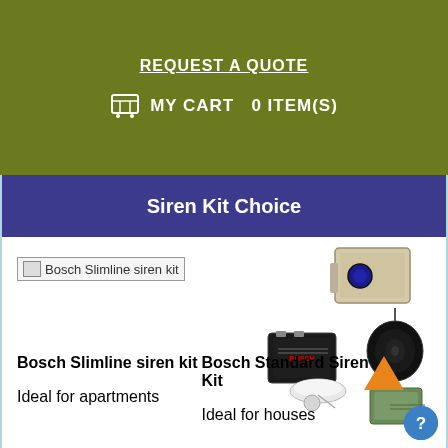REQUEST A QUOTE
MY CART  0 ITEM(S)
Siren Kit Choice
[Figure (photo): Broken image placeholder labeled 'Bosch Slimline siren kit']
[Figure (photo): Photo of Bosch Standard Siren Kit components: external siren unit (beige box), black speaker/horn, Bosch battery, white smoke detector base, mounting hardware, and a small green control box]
Bosch Slimline siren kit
Ideal for apartments
Bosch Standard Siren Kit
Ideal for houses